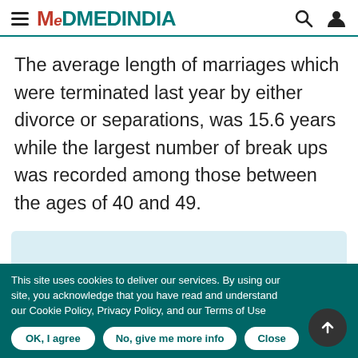MEDINDIA
The average length of marriages which were terminated last year by either divorce or separations, was 15.6 years while the largest number of break ups was recorded among those between the ages of 40 and 49.
[Figure (other): Light blue content block placeholder]
This site uses cookies to deliver our services. By using our site, you acknowledge that you have read and understand our Cookie Policy, Privacy Policy, and our Terms of Use